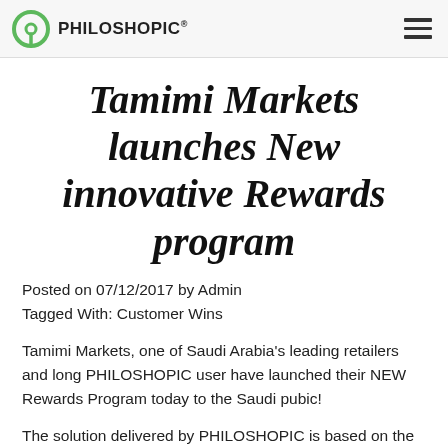PHILOSHOPIC®
Tamimi Markets launches New innovative Rewards program
Posted on 07/12/2017 by Admin
Tagged With: Customer Wins
Tamimi Markets, one of Saudi Arabia's leading retailers and long PHILOSHOPIC user have launched their NEW Rewards Program today to the Saudi pubic!
The solution delivered by PHILOSHOPIC is based on the SMASH Digital Wallet framework and enables consumers to earn points